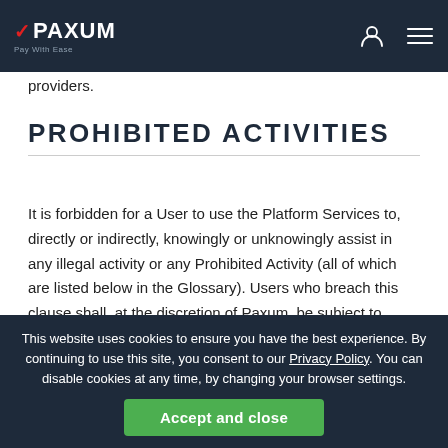PAXUM — Pay With Ease
providers.
PROHIBITED ACTIVITIES
It is forbidden for a User to use the Platform Services to, directly or indirectly, knowingly or unknowingly assist in any illegal activity or any Prohibited Activity (all of which are listed below in the Glossary). Users who breach this clause shall, at the discretion of Paxum, be subject to Account termination with cause.
PROHIBITED PERSONS
The following Persons are prohibited from using the Platform Services:
This website uses cookies to ensure you have the best experience. By continuing to use this site, you consent to our Privacy Policy. You can disable cookies at any time, by changing your browser settings.